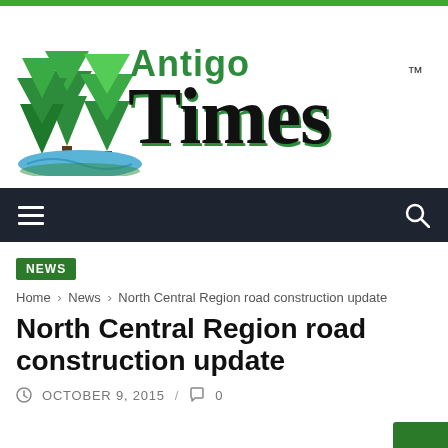[Figure (logo): Antigo Times newspaper logo with green pine trees and blue river/stream graphic, with 'Antigo' in green lettering and 'Times' in large black Old English/blackletter font with green shadow, and TM superscript]
NEWS
Home › News › North Central Region road construction update
North Central Region road construction update
OCTOBER 9, 2015 / 0